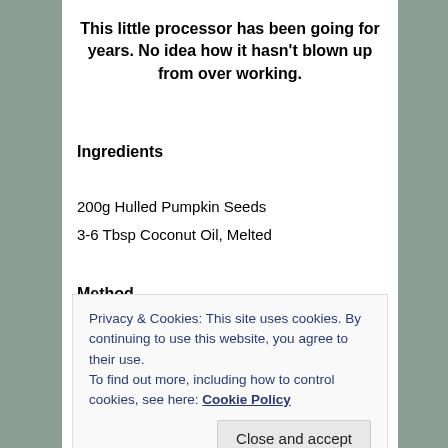This little processor has been going for years. No idea how it hasn't blown up from over working.
Ingredients
200g Hulled Pumpkin Seeds
3-6 Tbsp Coconut Oil, Melted
Method
1. Pre-heat oven to 200c (Fan) and line a baking tray with greaseproof paper.
2. Spread the Pumpkin Seeds out and then bake for 20-
Privacy & Cookies: This site uses cookies. By continuing to use this website, you agree to their use.
To find out more, including how to control cookies, see here: Cookie Policy
every few minutes to prevent food processor over-heating